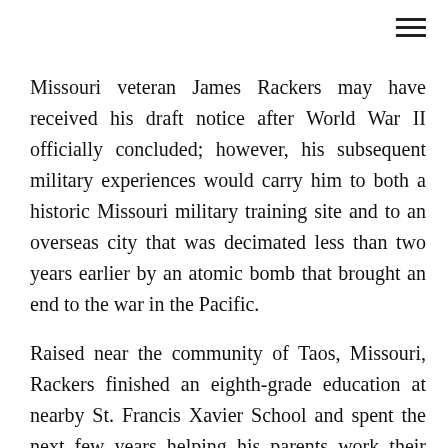Missouri veteran James Rackers may have received his draft notice after World War II officially concluded; however, his subsequent military experiences would carry him to both a historic Missouri military training site and to an overseas city that was decimated less than two years earlier by an atomic bomb that brought an end to the war in the Pacific.
Raised near the community of Taos, Missouri, Rackers finished an eighth-grade education at nearby St. Francis Xavier School and spent the next few years helping his parents work their farm. The war came